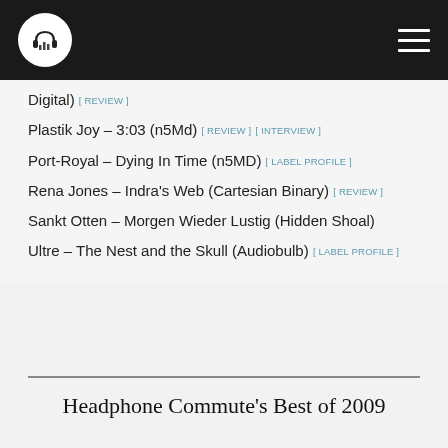Headphone Commute logo and navigation
Digital) [REVIEW]
Plastik Joy – 3:03 (n5Md) [REVIEW] [INTERVIEW]
Port-Royal – Dying In Time (n5MD) [LABEL PROFILE]
Rena Jones – Indra's Web (Cartesian Binary) [REVIEW]
Sankt Otten – Morgen Wieder Lustig (Hidden Shoal)
Ultre – The Nest and the Skull (Audiobulb) [LABEL PROFILE]
Headphone Commute's Best of 2009